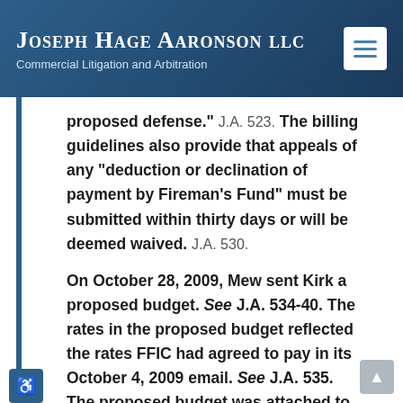Joseph Hage Aaronson LLC
Commercial Litigation and Arbitration
proposed defense." J.A. 523. The billing guidelines also provide that appeals of any "deduction or declination of payment by Fireman's Fund" must be submitted within thirty days or will be deemed waived. J.A. 530.

On October 28, 2009, Mew sent Kirk a proposed budget. See J.A. 534-40. The rates in the proposed budget reflected the rates FFIC had agreed to pay in its October 4, 2009 email. See J.A. 535. The proposed budget was attached to a cover letter written by Mew, which stated: